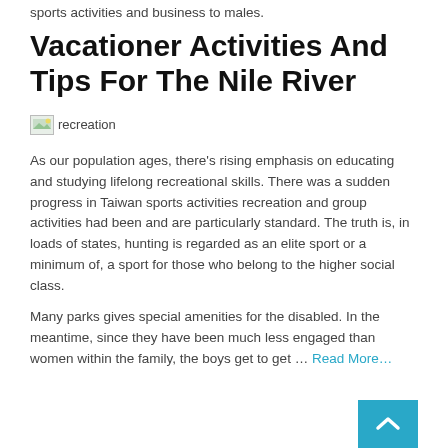… on best. Help and relationships to girls, and people on sports activities and business to males.
Vacationer Activities And Tips For The Nile River
[Figure (photo): Small image placeholder labeled 'recreation']
As our population ages, there's rising emphasis on educating and studying lifelong recreational skills. There was a sudden progress in Taiwan sports activities recreation and group activities had been and are particularly standard. The truth is, in loads of states, hunting is regarded as an elite sport or a minimum of, a sport for those who belong to the higher social class.
Many parks gives special amenities for the disabled. In the meantime, since they have been much less engaged than women within the family, the boys get to get … Read More…